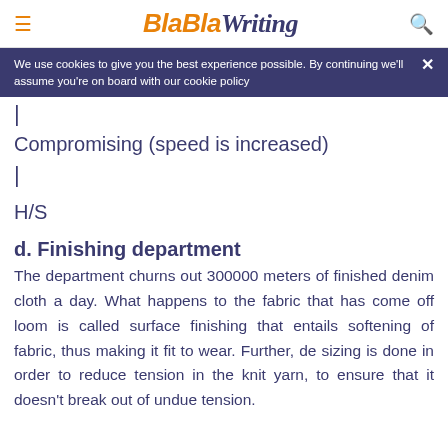BlaBlaWriting
We use cookies to give you the best experience possible. By continuing we'll assume you're on board with our cookie policy
|
Compromising (speed is increased)
|
H/S
d. Finishing department
The department churns out 300000 meters of finished denim cloth a day. What happens to the fabric that has come off loom is called surface finishing that entails softening of fabric, thus making it fit to wear. Further, de sizing is done in order to reduce tension in the knit yarn, to ensure that it doesn't break out of undue tension.